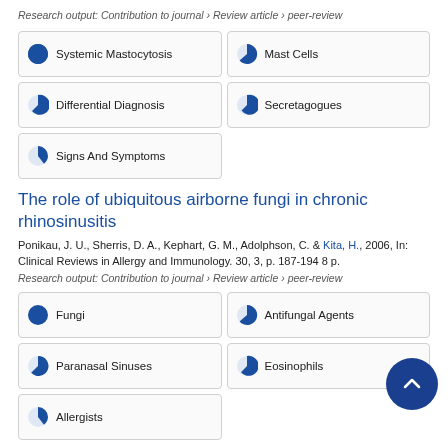Research output: Contribution to journal › Review article › peer-review
[Figure (infographic): Keyword badges with pie chart icons: Systemic Mastocytosis (100%), Mast Cells (~75%), Differential Diagnosis (~60%), Secretagogues (~55%), Signs And Symptoms (~35%)]
The role of ubiquitous airborne fungi in chronic rhinosinusitis
Ponikau, J. U., Sherris, D. A., Kephart, G. M., Adolphson, C. & Kita, H., 2006, In: Clinical Reviews in Allergy and Immunology. 30, 3, p. 187-194 8 p.
Research output: Contribution to journal › Review article › peer-review
[Figure (infographic): Keyword badges with pie chart icons: Fungi (100%), Antifungal Agents (~75%), Paranasal Sinuses (~65%), Eosinophils (~60%), Allergists (~35%)]